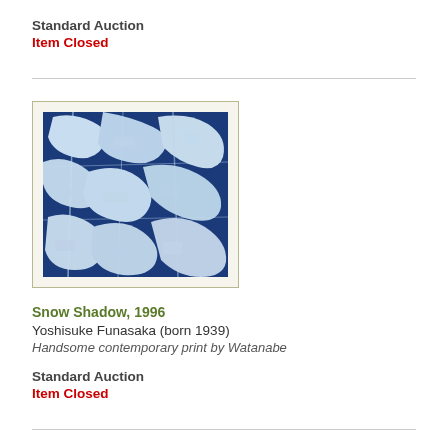Standard Auction
Item Closed
[Figure (illustration): Blue and white abstract contemporary woodblock print artwork titled Snow Shadow, 1996]
Snow Shadow, 1996
Yoshisuke Funasaka (born 1939)
Handsome contemporary print by Watanabe
Standard Auction
Item Closed